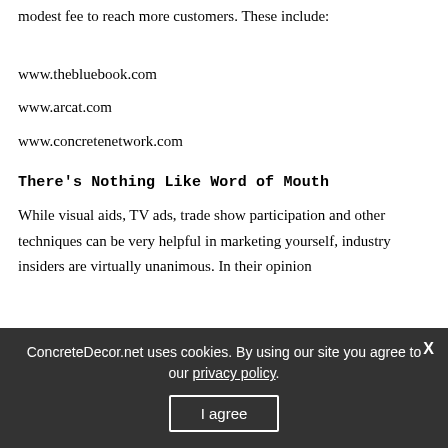modest fee to reach more customers. These include:
www.thebluebook.com
www.arcat.com
www.concretenetwork.com
There's Nothing Like Word of Mouth
While visual aids, TV ads, trade show participation and other techniques can be very helpful in marketing yourself, industry insiders are virtually unanimous. In their opinion
ConcreteDecor.net uses cookies. By using our site you agree to our privacy policy.